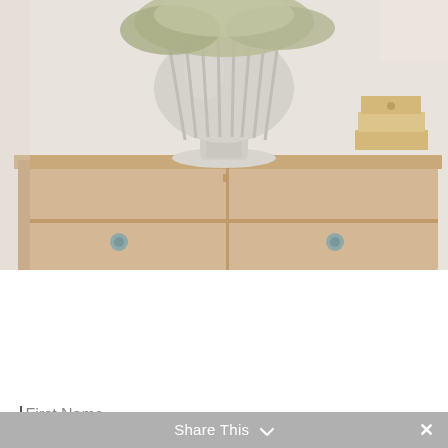[Figure (photo): Vintage light wood dresser/chest of drawers with round blue-grey metal pulls, topped with a large ornate white ribbed ceramic urn/vase holding dried green-grey flowers, and a stack of light wooden/cardboard boxes on the right. Background is off-white wall.]
Get our posts delivered to your inbox
First Name
Share This